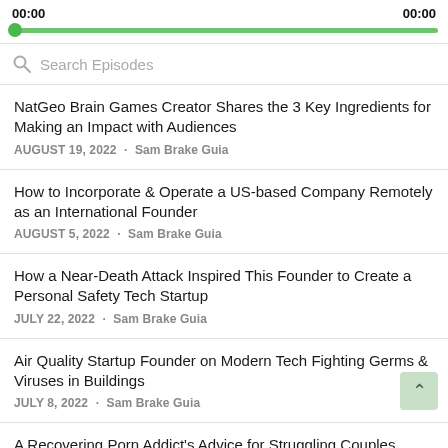00:00   00:00
[Figure (other): Audio progress bar: green filled track with circular knob at far left]
Search Episodes
NatGeo Brain Games Creator Shares the 3 Key Ingredients for Making an Impact with Audiences
AUGUST 19, 2022 · Sam Brake Guia
How to Incorporate & Operate a US-based Company Remotely as an International Founder
AUGUST 5, 2022 · Sam Brake Guia
How a Near-Death Attack Inspired This Founder to Create a Personal Safety Tech Startup
JULY 22, 2022 · Sam Brake Guia
Air Quality Startup Founder on Modern Tech Fighting Germs & Viruses in Buildings
JULY 8, 2022 · Sam Brake Guia
A Recovering Porn Addict's Advice for Struggling Couples,